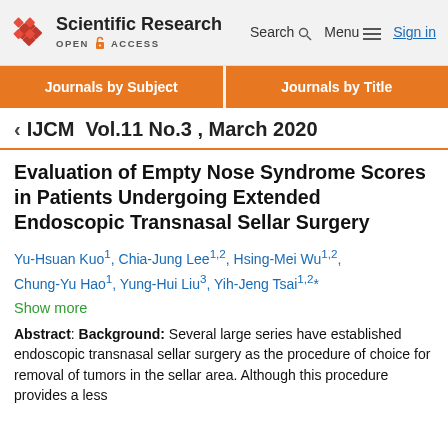Scientific Research OPEN ACCESS | Search | Menu | Sign in
Journals by Subject | Journals by Title
< IJCM Vol.11 No.3 , March 2020
Evaluation of Empty Nose Syndrome Scores in Patients Undergoing Extended Endoscopic Transnasal Sellar Surgery
Yu-Hsuan Kuo1, Chia-Jung Lee1,2, Hsing-Mei Wu1,2, Chung-Yu Hao1, Yung-Hui Liu3, Yih-Jeng Tsai1,2*
Show more
Abstract: Background: Several large series have established endoscopic transnasal sellar surgery as the procedure of choice for removal of tumors in the sellar area. Although this procedure provides a less